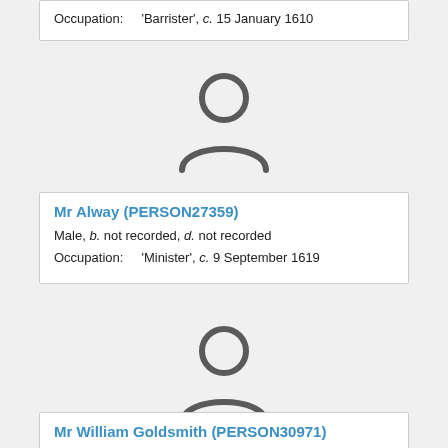Occupation: 'Barrister', c. 15 January 1610
[Figure (illustration): Generic person silhouette icon (grey outline of head and shoulders)]
Mr Alway (PERSON27359)
Male, b. not recorded, d. not recorded
Occupation: 'Minister', c. 9 September 1619
[Figure (illustration): Generic person silhouette icon (grey outline of head and shoulders)]
Mr William Goldsmith (PERSON30971)